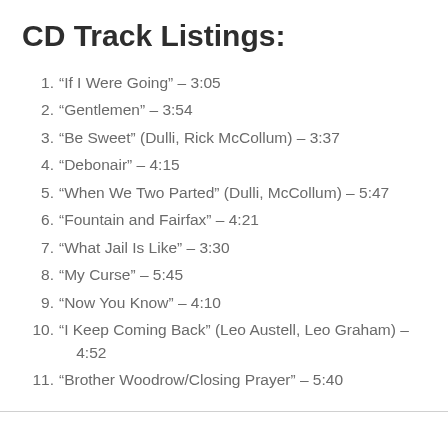CD Track Listings:
1. “If I Were Going” – 3:05
2. “Gentlemen” – 3:54
3. “Be Sweet” (Dulli, Rick McCollum) – 3:37
4. “Debonair” – 4:15
5. “When We Two Parted” (Dulli, McCollum) – 5:47
6. “Fountain and Fairfax” – 4:21
7. “What Jail Is Like” – 3:30
8. “My Curse” – 5:45
9. “Now You Know” – 4:10
10. “I Keep Coming Back” (Leo Austell, Leo Graham) – 4:52
11. “Brother Woodrow/Closing Prayer” – 5:40